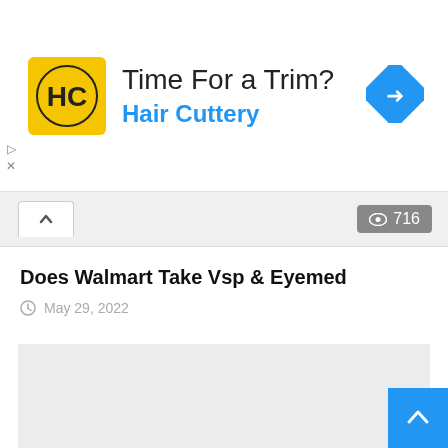[Figure (screenshot): Hair Cuttery advertisement banner with logo, text 'Time For a Trim? Hair Cuttery', and a blue diamond navigation arrow icon]
Does Walmart Take Vsp & Eyemed
May 29, 2022
[Figure (photo): Light gray placeholder image area for article content]